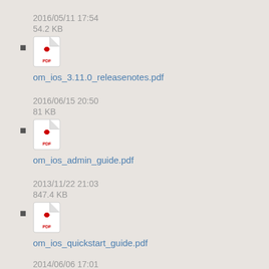2016/05/11 17:54
54.2 KB
om_ios_3.11.0_releasenotes.pdf
2016/06/15 20:50
81 KB
om_ios_admin_guide.pdf
2013/11/22 21:03
847.4 KB
om_ios_quickstart_guide.pdf
2014/06/06 17:01
951.6 KB